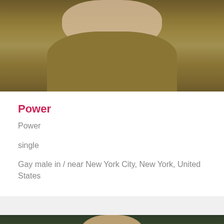[Figure (photo): Person wearing a mustard/golden yellow button-up shirt, photographed outdoors with green foliage in background, upper body visible]
Power
Power
single
Gay male in / near New York City, New York, United States
[Figure (photo): Person wearing glasses outdoors with trees/forest in background, partial view showing head and upper shoulders]